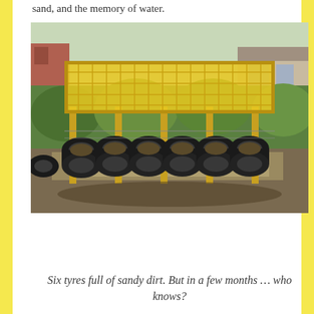sand, and the memory of water.
[Figure (photo): Outdoor garden scene showing a raised bamboo lattice structure supported by wooden posts, with six old black rubber tyres filled with sandy dirt arranged in a row beneath it. Surrounding vegetation including green plants and shrubs. A house is visible in the background on the right.]
Six tyres full of sandy dirt. But in a few months … who knows?